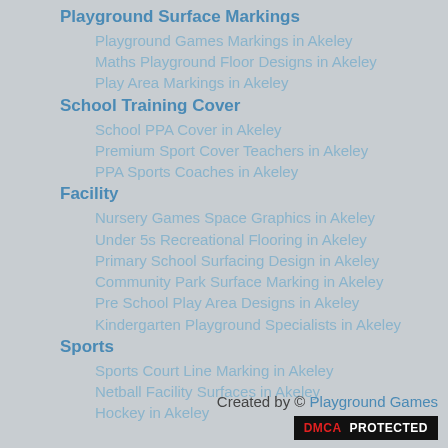Playground Surface Markings
Playground Games Markings in Akeley
Maths Playground Floor Designs in Akeley
Play Area Markings in Akeley
School Training Cover
School PPA Cover in Akeley
Premium Sport Cover Teachers in Akeley
PPA Sports Coaches in Akeley
Facility
Nursery Games Space Graphics in Akeley
Under 5s Recreational Flooring in Akeley
Primary School Surfacing Design in Akeley
Community Park Surface Marking in Akeley
Pre School Play Area Designs in Akeley
Kindergarten Playground Specialists in Akeley
Sports
Sports Court Line Marking in Akeley
Netball Facility Surfaces in Akeley
Hockey in Akeley
Created by © Playground Games